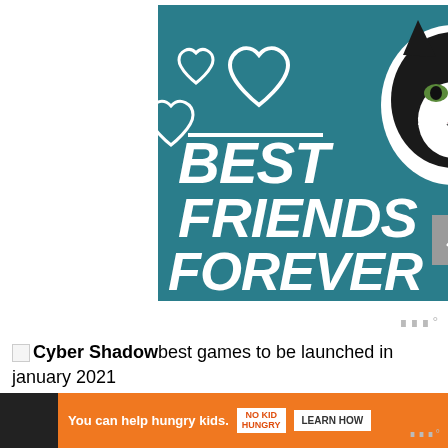[Figure (illustration): Advertisement banner with teal/dark-cyan background featuring a black and white cat sticker, heart outlines, and bold white italic text reading BEST FRIENDS FOREVER with a white horizontal line above the text.]
Cyber Shadowbest games to be launched in january 2021
Cyber Shadow
[Figure (illustration): Orange advertisement banner: 'You can help hungry kids.' with No Kid Hungry logo and LEARN HOW button.]